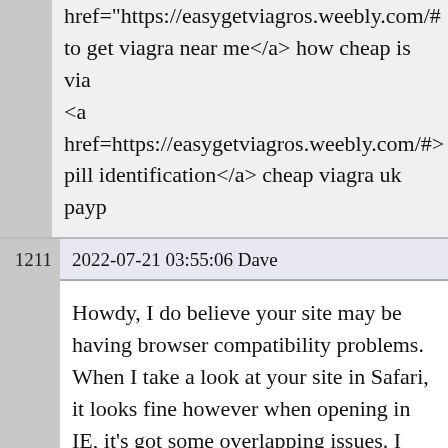href="https://easygetviagros.weebly.com/#" to get viagra near me</a> how cheap is via… <a href=https://easygetviagros.weebly.com/#> pill identification</a> cheap viagra uk payp…
2022-07-21 03:55:06 Dave
Howdy, I do believe your site may be having browser compatibility problems. When I take a look at your site in Safari, it looks fine however when opening in IE, it's got some overlapping issues. I simply wanted to give you a quick heads up! Other than that, fantastic blog! dark web market https://godarknetmarkets.com
2022-07-21 04:10:17 RobertOript…